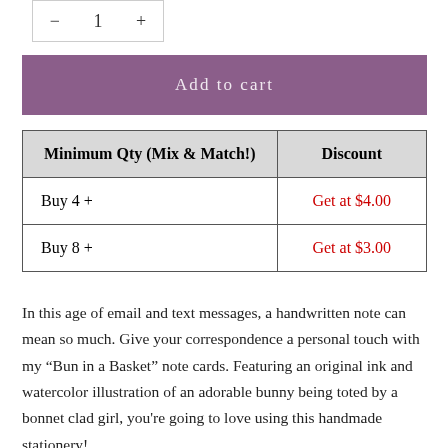[Figure (other): Quantity selector with minus button, number 1, and plus button in a bordered box]
Add to cart
| Minimum Qty (Mix & Match!) | Discount |
| --- | --- |
| Buy 4 + | Get at $4.00 |
| Buy 8 + | Get at $3.00 |
In this age of email and text messages, a handwritten note can mean so much. Give your correspondence a personal touch with my “Bun in a Basket” note cards. Featuring an original ink and watercolor illustration of an adorable bunny being toted by a bonnet clad girl, you're going to love using this handmade stationery!